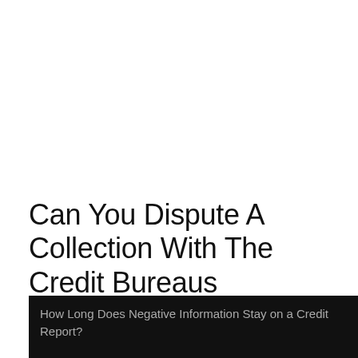Can You Dispute A Collection With The Credit Bureaus
[Figure (screenshot): A dark/black video thumbnail with gray text overlay reading 'How Long Does Negative Information Stay on a Credit Report?']